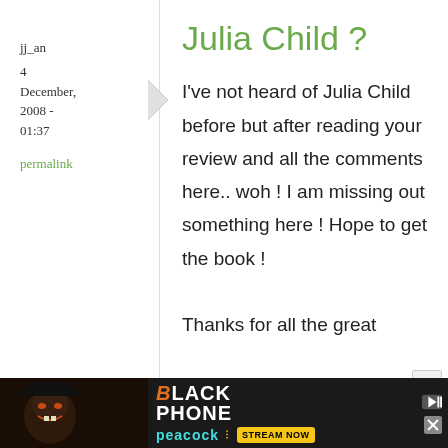jj_an
4 December, 2008 - 01:37
permalink
Julia Child ?
I've not heard of Julia Child before but after reading your review and all the comments here.. woh ! I am missing out something here ! Hope to get the book !

Thanks for all the great
[Figure (other): Advertisement banner for 'The Black Phone' on Peacock streaming service, dark background with movie poster imagery and 'STREAM NOW' button]